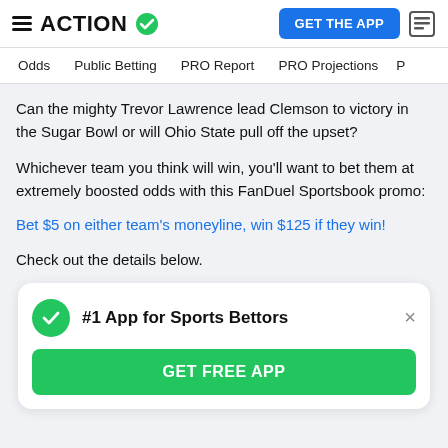ACTION ✓  |  GET THE APP
Odds  Public Betting  PRO Report  PRO Projections
Can the mighty Trevor Lawrence lead Clemson to victory in the Sugar Bowl or will Ohio State pull off the upset?
Whichever team you think will win, you'll want to bet them at extremely boosted odds with this FanDuel Sportsbook promo:
Bet $5 on either team's moneyline, win $125 if they win!
Check out the details below.
[Figure (infographic): Popup card with green checkmark circle, bold text '#1 App for Sports Bettors', close (×) button, and green 'GET FREE APP' button.]